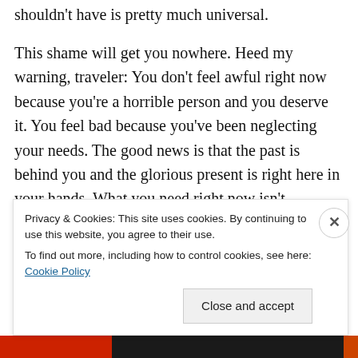shouldn't have is pretty much universal.
This shame will get you nowhere. Heed my warning, traveler: You don't feel awful right now because you're a horrible person and you deserve it. You feel bad because you've been neglecting your needs. The good news is that the past is behind you and the glorious present is right here in your hands. What you need right now isn't punishment or excuses – it's a bit of care
Privacy & Cookies: This site uses cookies. By continuing to use this website, you agree to their use.
To find out more, including how to control cookies, see here: Cookie Policy
Close and accept